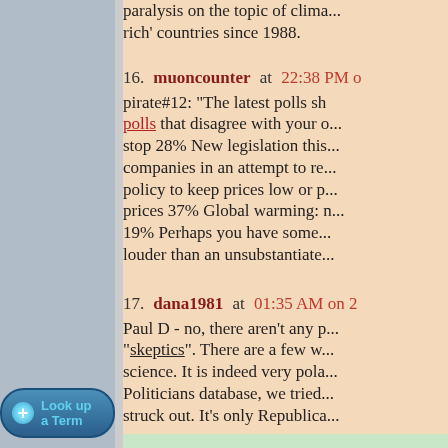paralysis on the topic of climate... rich' countries since 1988.
16. muoncounter at 22:38 PM — pirate#12: "The latest polls sh... polls that disagree with your o... stop 28% New legislation this... companies in an attempt to re... policy to keep prices low or p... prices 37% Global warming: n... 19% Perhaps you have some... louder than an unsubstantiate...
17. dana1981 at 01:35 AM on 25... Paul D - no, there aren't any p... "skeptics". There are a few w... science. It is indeed very pola... Politicians database, we tried... struck out. It's only Republica...
18. Eric the Red at 03:04 AM on... muon, ( -Snip- )
Look up a Term